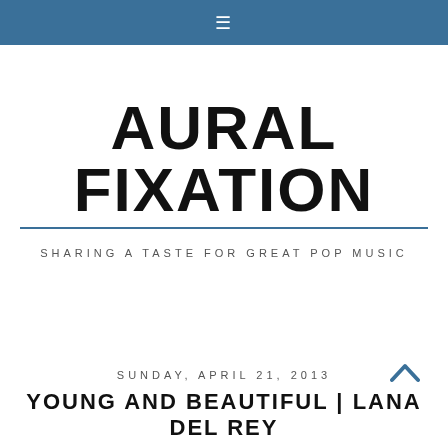≡
AURAL FIXATION
SHARING A TASTE FOR GREAT POP MUSIC
SUNDAY, APRIL 21, 2013
YOUNG AND BEAUTIFUL | LANA DEL REY